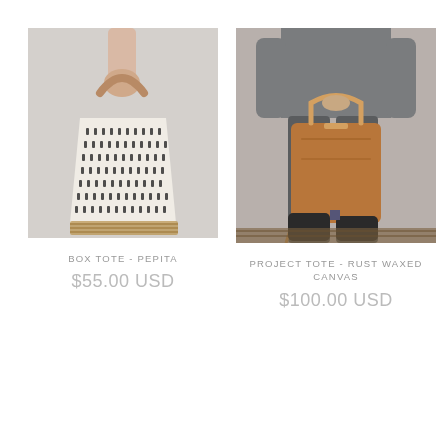[Figure (photo): A hand holding a black and white patterned box tote bag by its tan leather handle, resting on a woven basket surface against a light gray background.]
BOX TOTE - PEPITA
$55.00 USD
[Figure (photo): A person wearing dark gray pants and black boots holding a rust brown waxed canvas project tote bag by its handles, standing on a wooden floor.]
PROJECT TOTE - RUST WAXED CANVAS
$100.00 USD